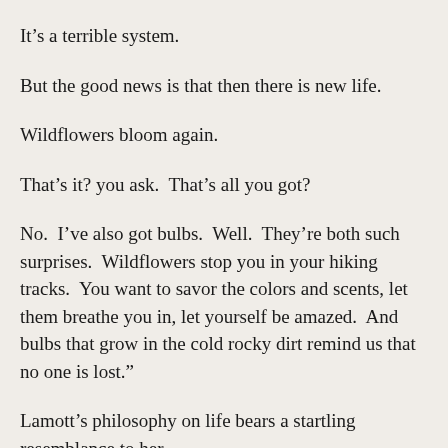It’s a terrible system.
But the good news is that then there is new life.
Wildflowers bloom again.
That’s it? you ask.  That’s all you got?
No.  I’ve also got bulbs.  Well.  They’re both such surprises.  Wildflowers stop you in your hiking tracks.  You want to savor the colors and scents, let them breathe you in, let yourself be amazed.  And bulbs that grow in the cold rocky dirt remind us that no one is lost.”
Lamott’s philosophy on life bears a startling resemblance to her